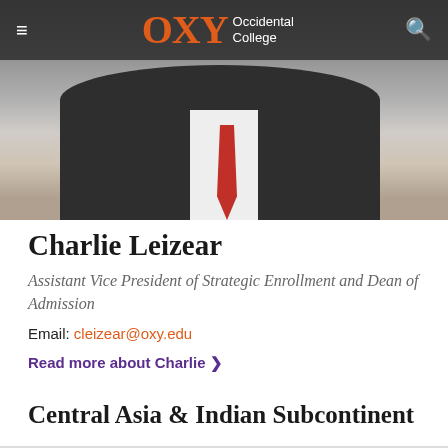[Figure (photo): Photo of Charlie Leizear wearing a dark suit jacket, white shirt, and red tie, with a blurred outdoor background. Occidental College navigation bar overlaid at top with OXY logo in orange.]
Charlie Leizear
Assistant Vice President of Strategic Enrollment and Dean of Admission
Email: cleizear@oxy.edu
Read more about Charlie ›
Central Asia & Indian Subcontinent